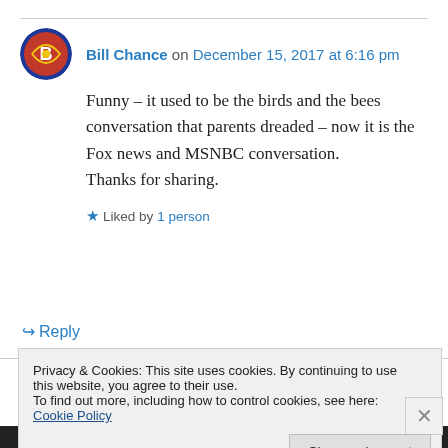Bill Chance on December 15, 2017 at 6:16 pm
Funny – it used to be the birds and the bees conversation that parents dreaded – now it is the Fox news and MSNBC conversation. Thanks for sharing.
★ Liked by 1 person
↳ Reply
Privacy & Cookies: This site uses cookies. By continuing to use this website, you agree to their use. To find out more, including how to control cookies, see here: Cookie Policy
Close and accept